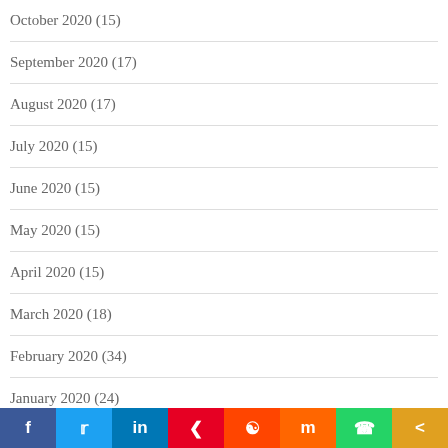October 2020 (15)
September 2020 (17)
August 2020 (17)
July 2020 (15)
June 2020 (15)
May 2020 (15)
April 2020 (15)
March 2020 (18)
February 2020 (34)
January 2020 (24)